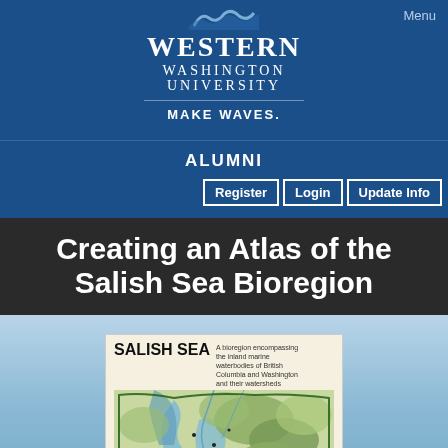[Figure (logo): Western Washington University logo with wave graphic, university name, and MAKE WAVES. tagline on blue background]
Menu
ALUMNI
Register   Login   Update Info
Creating an Atlas of the Salish Sea Bioregion
[Figure (map): Salish Sea bioregion map showing the inland marine waters of British Columbia and Washington and their watersheds, with topographic detail in green and blue tones]